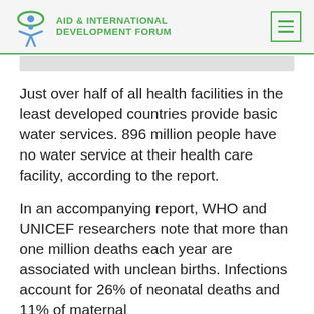AID & INTERNATIONAL DEVELOPMENT FORUM
Just over half of all health facilities in the least developed countries provide basic water services. 896 million people have no water service at their health care facility, according to the report.
In an accompanying report, WHO and UNICEF researchers note that more than one million deaths each year are associated with unclean births. Infections account for 26% of neonatal deaths and 11% of maternal